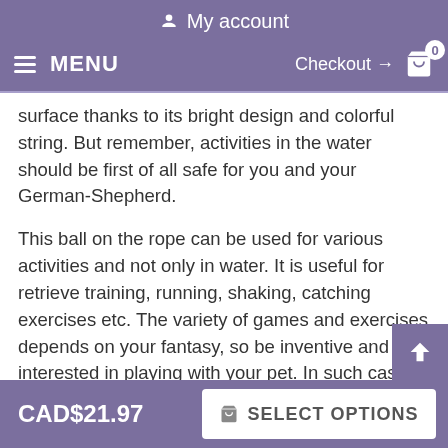My account
MENU  Checkout → 0
surface thanks to its bright design and colorful string. But remember, activities in the water should be first of all safe for you and your German-Shepherd.
This ball on the rope can be used for various activities and not only in water. It is useful for retrieve training, running, shaking, catching exercises etc. The variety of games and exercises depends on your fantasy, so be inventive and interested in playing with your pet. In such case it will be successful and exciting.
This Unsinkable Foam Dog Ball is 3 1/2 inch in diameter. If you want to purchase a smaller toy of such kind, choose 3 inch Fo… Dog Ball (click on the link to get on the product page).
CAD$21.97  SELECT OPTIONS